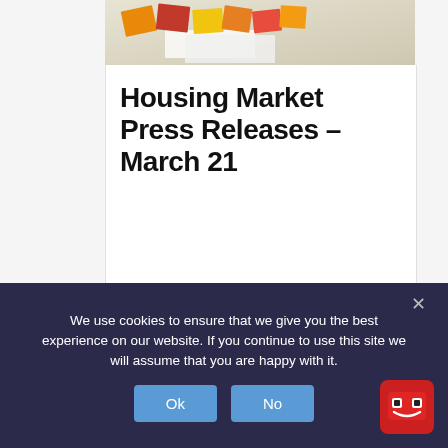[Figure (photo): Top portion of a card showing sticky notes and papers on a desk surface with orange, red, yellow, and green sticky notes visible]
Housing Market Press Releases – March 21
While new signed purchase agreements
Read More >
We use cookies to ensure that we give you the best experience on our website. If you continue to use this site we will assume that you are happy with it.